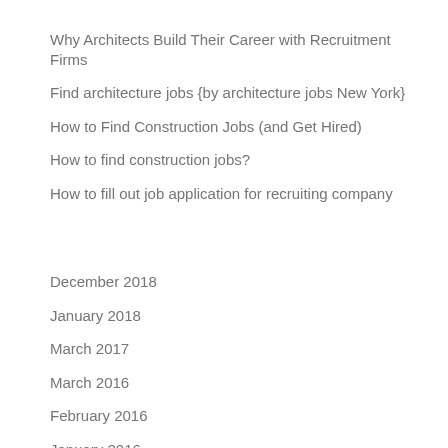Why Architects Build Their Career with Recruitment Firms
Find architecture jobs {by architecture jobs New York}
How to Find Construction Jobs (and Get Hired)
How to find construction jobs?
How to fill out job application for recruiting company
December 2018
January 2018
March 2017
March 2016
February 2016
January 2016
December 2015